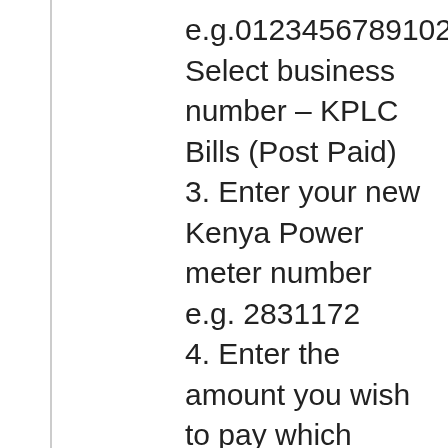e.g.0123456789102 Select business number – KPLC Bills (Post Paid) 3. Enter your new Kenya Power meter number e.g. 2831172 4. Enter the amount you wish to pay which should be between Shs.100 and  Shs.500,000.